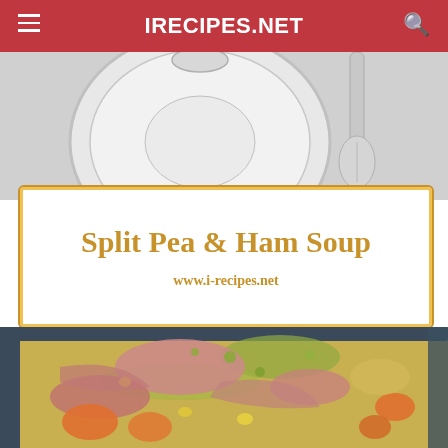IRECIPES.NET
[Figure (photo): Top portion of a food photo showing a white plate and decorative spoon on a light background]
Split Pea & Ham Soup
www.i-recipes.net
[Figure (photo): Close-up photo of split pea and ham soup in a dark pot, showing shredded ham, carrots, and split peas in a light broth]